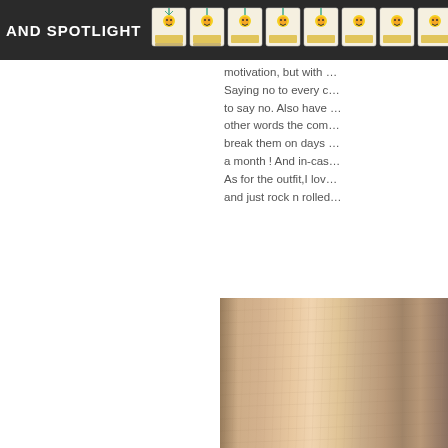AND SPOTLIGHT
motivation, but with ... Saying no to every c... to say no. Also have ... other words the com... break them on days ... a month ! And in-cas... As for the outfit,I lov... and just rock n rolled...
[Figure (photo): Partial view of a person or wooden surface in beige/tan tones, cropped on right side of page]